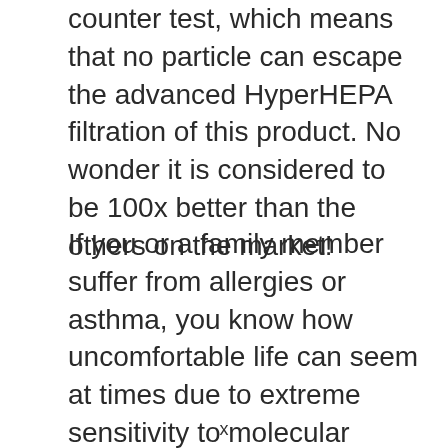counter test, which means that no particle can escape the advanced HyperHEPA filtration of this product. No wonder it is considered to be 100x better than the others on the market!
If you or a family member suffer from allergies or asthma, you know how uncomfortable life can seem at times due to extreme sensitivity to molecular irritants and allergies.
x